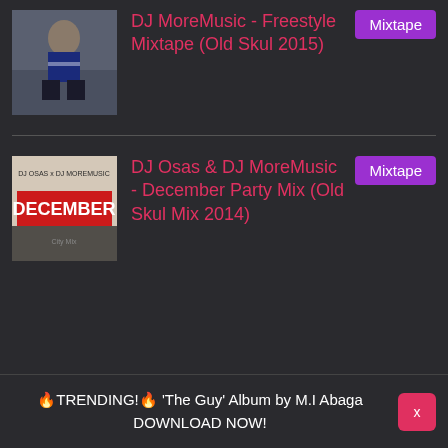[Figure (photo): Album art thumbnail: photo of a young man sitting outdoors in a blue and white sweater]
DJ MoreMusic - Freestyle Mixtape (Old Skul 2015)
Mixtape
[Figure (photo): Album art thumbnail: December City Mix mixtape cover with red text 'DECEMBER' and DJ names]
DJ Osas & DJ MoreMusic - December Party Mix (Old Skul Mix 2014)
Mixtape
🔥TRENDING!🔥 'The Guy' Album by M.I Abaga DOWNLOAD NOW!